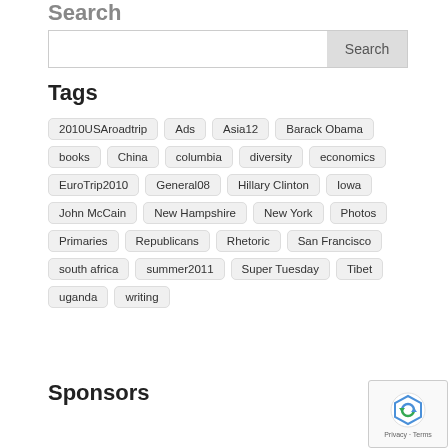Search
Search [search input box]
Tags
2010USAroadtrip
Ads
Asia12
Barack Obama
books
China
columbia
diversity
economics
EuroTrip2010
General08
Hillary Clinton
Iowa
John McCain
New Hampshire
New York
Photos
Primaries
Republicans
Rhetoric
San Francisco
south africa
summer2011
Super Tuesday
Tibet
uganda
writing
Sponsors